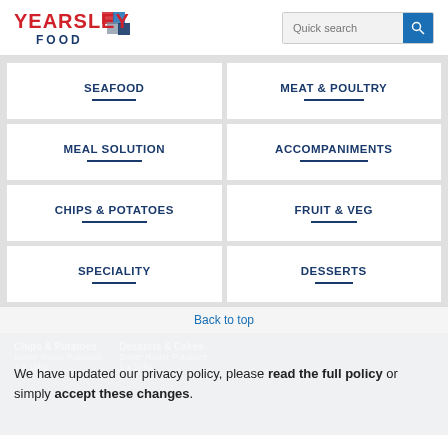[Figure (logo): Yearsley Food logo with red text YEARSLEY and dark blue FOOD with diamond/arrow graphic]
Quick search
SEAFOOD
MEAT & POULTRY
MEAL SOLUTION
ACCOMPANIMENTS
CHIPS & POTATOES
FRUIT & VEG
SPECIALITY
DESSERTS
Back to top
We have updated our privacy policy, please read the full policy or simply accept these changes.
1 x 10kg
1 x 10kg